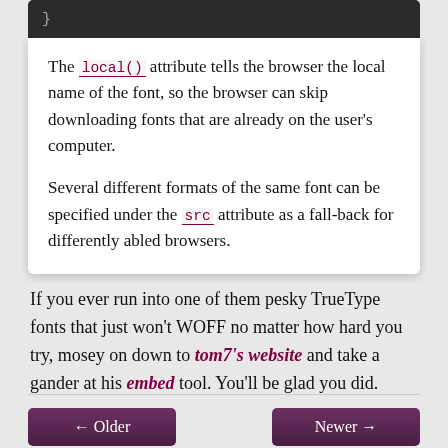[Figure (screenshot): Dark code block showing closing brace character]
The local() attribute tells the browser the local name of the font, so the browser can skip downloading fonts that are already on the user's computer.

Several different formats of the same font can be specified under the src attribute as a fall-back for differently abled browsers.
If you ever run into one of them pesky TrueType fonts that just won't WOFF no matter how hard you try, mosey on down to tom7's website and take a gander at his embed tool. You'll be glad you did.
← Older   Newer →